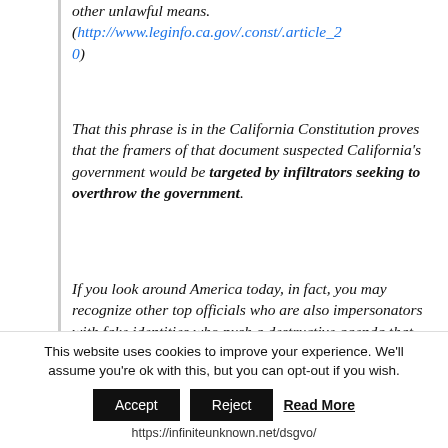other unlawful means. (http://www.leginfo.ca.gov/.const/.article_20)
That this phrase is in the California Constitution proves that the framers of that document suspected California’s government would be targeted by infiltrators seeking to overthrow the government.
If you look around America today, in fact, you may recognize other top officials who are also impersonators with fake identities who push a destructive agenda that denies Americans our Constitutional rights. Ring a bell...
This website uses cookies to improve your experience. We’ll assume you’re ok with this, but you can opt-out if you wish.
Accept | Reject | Read More
https://infiniteunknown.net/dsgvo/